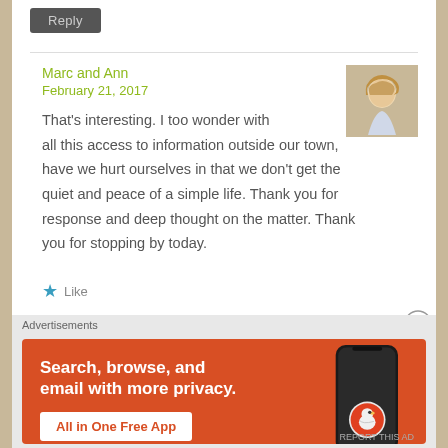Reply
Marc and Ann
February 21, 2017
That's interesting. I too wonder with all this access to information outside our town, have we hurt ourselves in that we don't get the quiet and peace of a simple life. Thank you for response and deep thought on the matter. Thank you for stopping by today.
★ Like
Advertisements
[Figure (screenshot): DuckDuckGo advertisement banner with orange background. Text reads: Search, browse, and email with more privacy. All in One Free App. Shows a phone mockup with DuckDuckGo logo.]